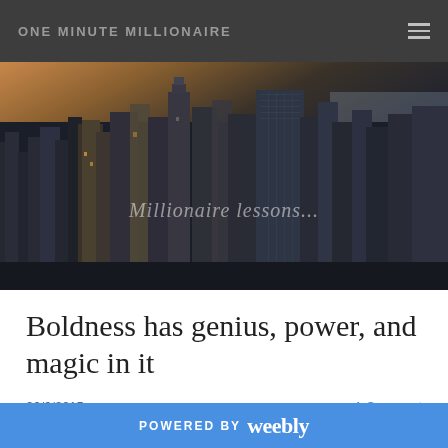ONE MINUTE MILLIONAIRE
[Figure (photo): Aerial cityscape photo of a large city skyline (resembling New York City) at dusk/dawn, with skyscrapers and water visible in the background. Semi-transparent overlay text reads 'Millionaire lessons...']
Boldness has genius, power, and magic in it
26/6/2015    1 Comment
I'm sure you've heard this quote from Goethe before but
POWERED BY weebly